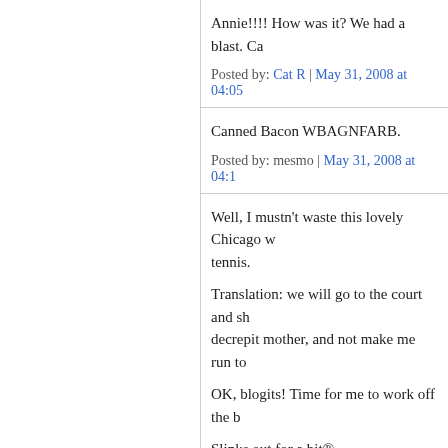Annie!!!! How was it? We had a blast. Ca…
Posted by: Cat R | May 31, 2008 at 04:05
Canned Bacon WBAGNFARB.
Posted by: mesmo | May 31, 2008 at 04:1…
Well, I mustn't waste this lovely Chicago w… tennis.
Translation: we will go to the court and sh… decrepit mother, and not make me run to…
OK, blogits! Time for me to work off the b…
Slinks out for a bit®
Posted by: Cat R | May 31, 2008 at 04:17
Cat - that's hilarious in a sick way. Your h…